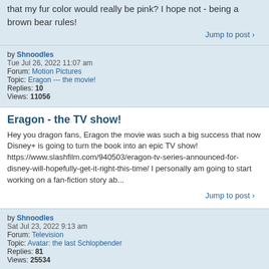that my fur color would really be pink? I hope not - being a brown bear rules!
Jump to post ›
by Shnoodles
Tue Jul 26, 2022 11:07 am
Forum: Motion Pictures
Topic: Eragon --- the movie!
Replies: 10
Views: 11056
Eragon - the TV show!
Hey you dragon fans, Eragon the movie was such a big success that now Disney+ is going to turn the book into an epic TV show! https://www.slashfilm.com/940503/eragon-tv-series-announced-for-disney-will-hopefully-get-it-right-this-time/ I personally am going to start working on a fan-fiction story ab...
Jump to post ›
by Shnoodles
Sat Jul 23, 2022 9:13 am
Forum: Television
Topic: Avatar: the last Schlopbender
Replies: 81
Views: 25534
Schlopbender movie
Hey you Momo fans, It's been hard keeping track of all the Schlopatar developments - first the creators Bryan and Michael were teaming up with Nib...